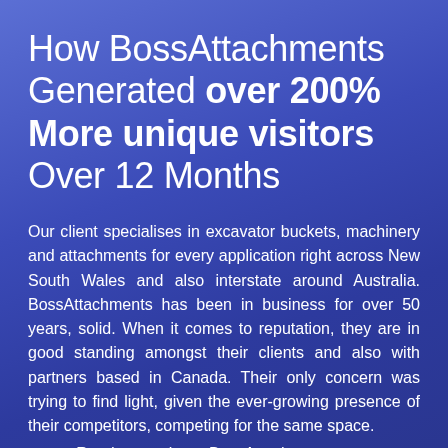How BossAttachments Generated over 200% More unique visitors Over 12 Months
Our client specialises in excavator buckets, machinery and attachments for every application right across New South Wales and also interstate around Australia. BossAttachments has been in business for over 50 years, solid. When it comes to reputation, they are in good standing amongst their clients and also with partners based in Canada. Their only concern was trying to find light, given the ever-growing presence of their competitors, competing for the same space.
Read more about  BossAttachments case